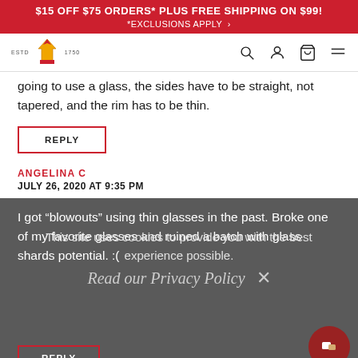$15 OFF $75 ORDERS* PLUS FREE SHIPPING ON $99! *EXCLUSIONS APPLY
[Figure (logo): Crown/wheat logo with ESTD 1750 text and navigation icons (search, account, cart, menu)]
going to use a glass, the sides have to be straight, not tapered, and the rim has to be thin.
REPLY
ANGELINA C
JULY 26, 2020 AT 9:35 PM
I got “blowouts” using thin glasses in the past. Broke one of my favorite glasses and ruined a batch with glass shards potential. :(
This site uses cookies to provide you with the best experience possible.
Read our Privacy Policy
REPLY